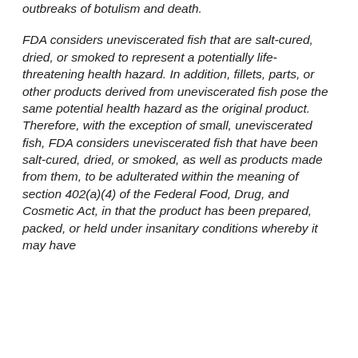outbreaks of botulism and death.
FDA considers uneviscerated fish that are salt-cured, dried, or smoked to represent a potentially life-threatening health hazard. In addition, fillets, parts, or other products derived from uneviscerated fish pose the same potential health hazard as the original product. Therefore, with the exception of small, uneviscerated fish, FDA considers uneviscerated fish that have been salt-cured, dried, or smoked, as well as products made from them, to be adulterated within the meaning of section 402(a)(4) of the Federal Food, Drug, and Cosmetic Act, in that the product has been prepared, packed, or held under insanitary conditions whereby it may have